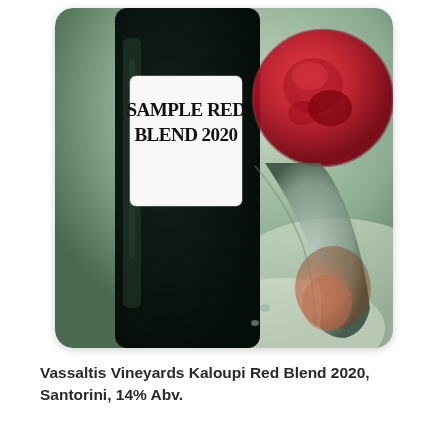[Figure (photo): Close-up photo of a dark wine bottle with a white label reading 'SAMPLE RED BLEND 2020' next to a wine glass filled with red wine, photographed from above on a light surface.]
Vassaltis Vineyards Kaloupi Red Blend 2020, Santorini, 14% Abv.